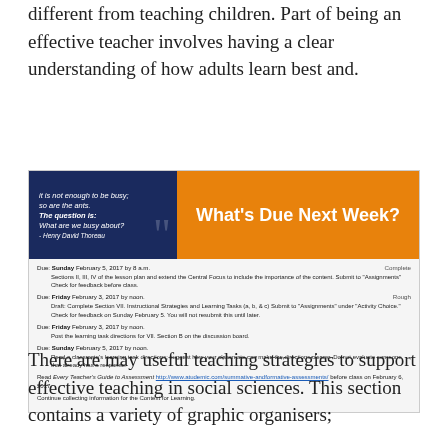different from teaching children. Part of being an effective teacher involves having a clear understanding of how adults learn best and.
[Figure (infographic): Infographic with a dark blue quote box on the left reading 'it is not enough to be busy; so are the ants. The question is: What are we busy about? - Henry David Thoreau' and an orange header on the right reading 'What's Due Next Week?' followed by a list of due assignments with dates and descriptions.]
There are may useful teaching strategies to support effective teaching in social sciences. This section contains a variety of graphic organisers;